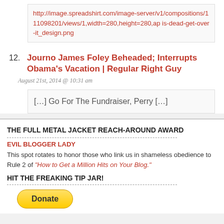http://image.spreadshirt.com/image-server/v1/compositions/111098201/views/1,width=280,height=280,ap is-dead-get-over-it_design.png
12. Journo James Foley Beheaded; Interrupts Obama's Vacation | Regular Right Guy
August 21st, 2014 @ 10:31 am
[…] Go For The Fundraiser, Perry […]
THE FULL METAL JACKET REACH-AROUND AWARD
EVIL BLOGGER LADY
This spot rotates to honor those who link us in shameless obedience to Rule 2 of "How to Get a Million Hits on Your Blog."
HIT THE FREAKING TIP JAR!
[Figure (other): Donate button (yellow/gold rounded rectangle)]